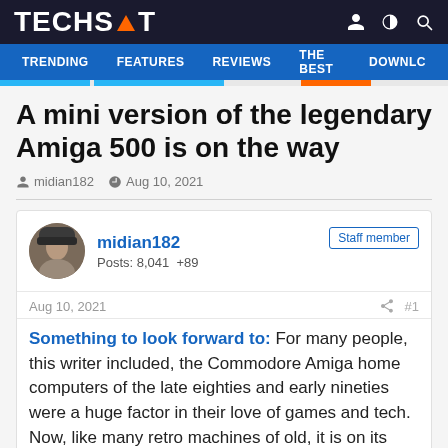TECHSPOT
A mini version of the legendary Amiga 500 is on the way
midian182 · Aug 10, 2021
midian182
Posts: 8,041  +89
Staff member
Aug 10, 2021  #1
Something to look forward to: For many people, this writer included, the Commodore Amiga home computers of the late eighties and early nineties were a huge factor in their love of games and tech. Now, like many retro machines of old, it is on its way back in mini form